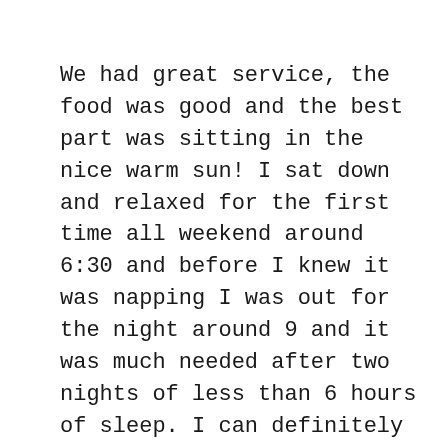We had great service, the food was good and the best part was sitting in the nice warm sun! I sat down and relaxed for the first time all weekend around 6:30 and before I knew it was napping I was out for the night around 9 and it was much needed after two nights of less than 6 hours of sleep. I can definitely feel the wrath of a jam packed weekend this morning, it was hard to get up and get energized. The cinnamon life will help get me started and a nice fruit salad is awaiting me in the fridge when I get enough energy to go get it